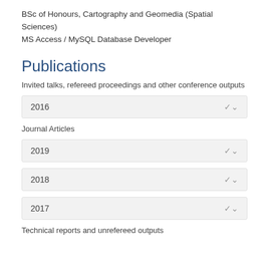BSc of Honours, Cartography and Geomedia (Spatial Sciences)
MS Access / MySQL Database Developer
Publications
Invited talks, refereed proceedings and other conference outputs
2016
Journal Articles
2019
2018
2017
Technical reports and unrefereed outputs